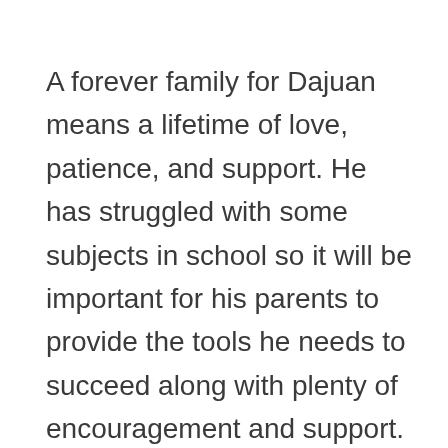A forever family for Dajuan means a lifetime of love, patience, and support. He has struggled with some subjects in school so it will be important for his parents to provide the tools he needs to succeed along with plenty of encouragement and support. Dajuan is also very impressionable so it will be important to monitor his friendships and other relationships. Dajuan would thrive with parents who can help guide him towards positive decision-making skills and have open and non-judgmental conversations that will help him navigate